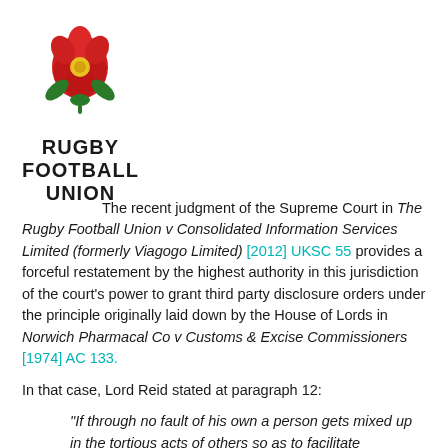[Figure (logo): Rugby Football Union logo: red rose emblem above bold text reading RUGBY FOOTBALL UNION]
The recent judgment of the Supreme Court in The Rugby Football Union v Consolidated Information Services Limited (formerly Viagogo Limited) [2012] UKSC 55 provides a forceful restatement by the highest authority in this jurisdiction of the court's power to grant third party disclosure orders under the principle originally laid down by the House of Lords in Norwich Pharmacal Co v Customs & Excise Commissioners [1974] AC 133.
In that case, Lord Reid stated at paragraph 12:
“If through no fault of his own a person gets mixed up in the tortious acts of others so as to facilitate